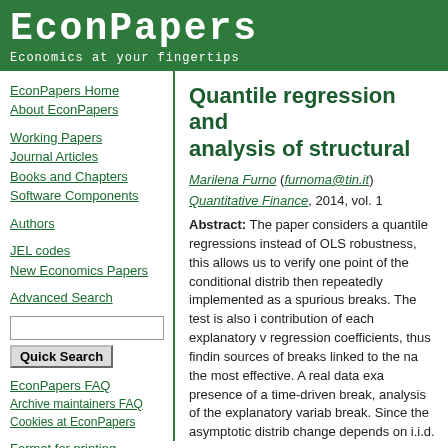EconPapers
Economics at your fingertips
EconPapers Home
About EconPapers
Working Papers
Journal Articles
Books and Chapters
Software Components
Authors
JEL codes
New Economics Papers
Advanced Search
EconPapers FAQ
Archive maintainers FAQ
Cookies at EconPapers
Format for printing
Quantile regression and analysis of structural...
Marilena Furno (furnoma@tin.it)
Quantitative Finance, 2014, vol. 1...
Abstract: The paper considers a quantile regressions instead of OLS robustness, this allows us to verify one point of the conditional distribution then repeatedly implemented as a spurious breaks. The test is also in contribution of each explanatory variable regression coefficients, thus finding sources of breaks linked to the nature the most effective. A real data example presence of a time-driven break, analysis of the explanatory variable break. Since the asymptotic distribution change depends on i.i.d. normal e explanatory variables, a Monte Ca